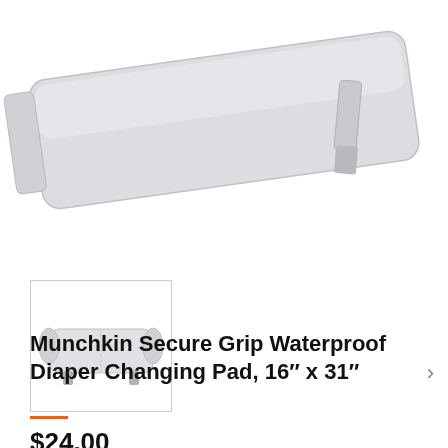[Figure (photo): Main product photo of a white/light grey Munchkin Secure Grip Waterproof Diaper Changing Pad, shown from a slight angle above, with a folded strap visible on the right side.]
[Figure (photo): Thumbnail image of the Munchkin Secure Grip Waterproof Diaper Changing Pad showing contoured sides, displayed inside a square border box.]
Munchkin Secure Grip Waterproof Diaper Changing Pad, 16″ x 31″
$24.00